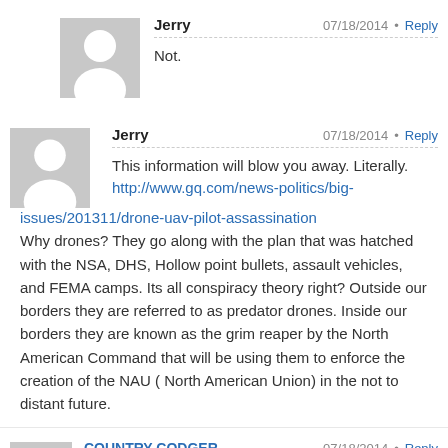Jerry — 07/18/2014 • Reply
Not.
Jerry — 07/18/2014 • Reply
This information will blow you away. Literally. http://www.gq.com/news-politics/big-issues/201311/drone-uav-pilot-assassination
Why drones? They go along with the plan that was hatched with the NSA, DHS, Hollow point bullets, assault vehicles, and FEMA camps. Its all conspiracy theory right? Outside our borders they are referred to as predator drones. Inside our borders they are known as the grim reaper by the North American Command that will be using them to enforce the creation of the NAU ( North American Union) in the not to distant future.
COUNTRY CODGER — 07/18/2014 • Reply